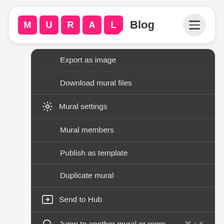[Figure (screenshot): MURAL Blog website header with logo tiles spelling M-U-R-A-L in pink squares and a hamburger menu button]
Export as image
Download mural files
Mural settings
Mural members
Publish as template
Duplicate mural
Send to Hub
Jump to another mural or room   ⌘ + K
Delete mural